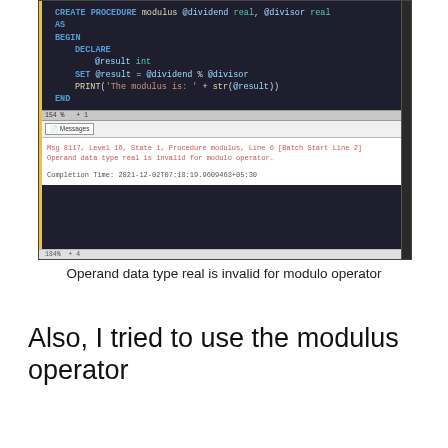[Figure (screenshot): SQL Server Management Studio screenshot showing a stored procedure code with a modulo operation on real data types, and an error message panel showing: Msg 8117, Level 16, State 1, Procedure modulus, Line 6 [Batch Start Line 2] Operand data type real is invalid for modulo operator. Completion Time: 2021-12-02T07:18:19.9609463+05:30]
Operand data type real is invalid for modulo operator
Also, I tried to use the modulus operator